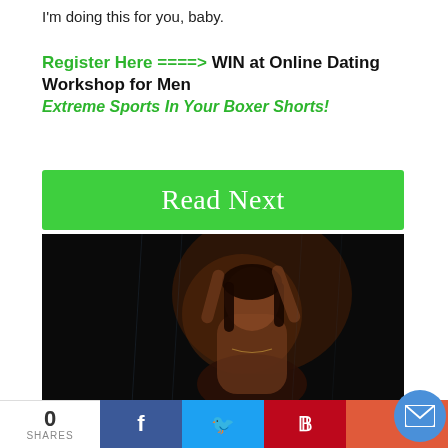I'm doing this for you, baby.
Register Here ===>  WIN at Online Dating Workshop for Men
Extreme Sports In Your Boxer Shorts!
[Figure (other): Green button labeled 'Read Next']
[Figure (photo): Dark atmospheric photo of a woman with wet hair]
Post-Divorce SEX Dates (How to play t
0
SHARES